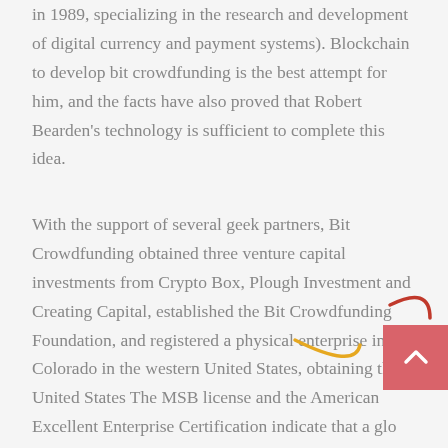in 1989, specializing in the research and development of digital currency and payment systems). Blockchain to develop bit crowdfunding is the best attempt for him, and the facts have also proved that Robert Bearden's technology is sufficient to complete this idea.
With the support of several geek partners, Bit Crowdfunding obtained three venture capital investments from Crypto Box, Plough Investment and Creating Capital, established the Bit Crowdfunding Foundation, and registered a physical enterprise in Colorado in the western United States, obtaining the United States The MSB license and the American Excellent Enterprise Certification indicate that a global blockchain crowdfunding ecological platform is rising, helping more people to break through the capital barriers to realize their entrepreneurial dreams.